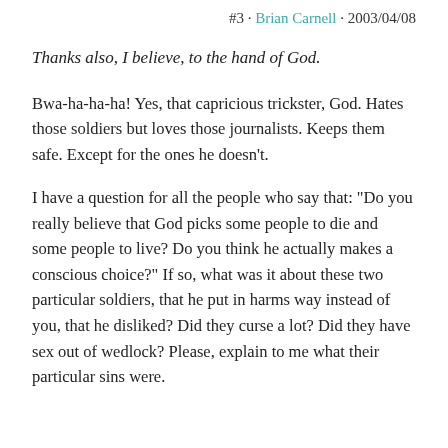#3 · Brian Carnell · 2003/04/08
Thanks also, I believe, to the hand of God.
Bwa-ha-ha-ha! Yes, that capricious trickster, God. Hates those soldiers but loves those journalists. Keeps them safe. Except for the ones he doesn't.
I have a question for all the people who say that: "Do you really believe that God picks some people to die and some people to live? Do you think he actually makes a conscious choice?" If so, what was it about these two particular soldiers, that he put in harms way instead of you, that he disliked? Did they curse a lot? Did they have sex out of wedlock? Please, explain to me what their particular sins were.